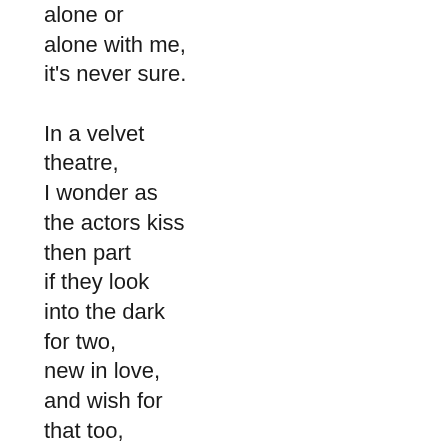alone or
alone with me,
it's never sure.

In a velvet
theatre,
I wonder as
the actors kiss
then part
if they look
into the dark
for two,
new in love,
and wish for
that too,
in their hearts.

Then you in
the gray screen
lifted from
time.
A ring or
me that wind